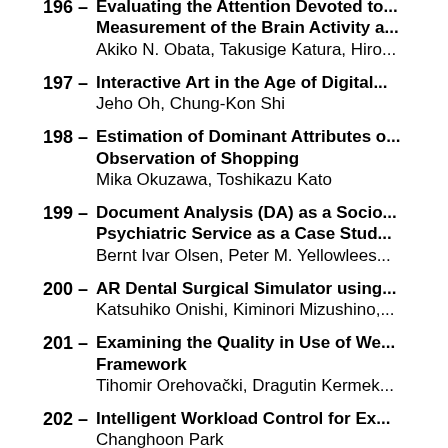196 – Evaluating the Attention Devoted to... Measurement of the Brain Activity a...
Akiko N. Obata, Takusige Katura, Hiro...
197 – Interactive Art in the Age of Digital...
Jeho Oh, Chung-Kon Shi
198 – Estimation of Dominant Attributes o... Observation of Shopping
Mika Okuzawa, Toshikazu Kato
199 – Document Analysis (DA) as a Socio... Psychiatric Service as a Case Stud...
Bernt Ivar Olsen, Peter M. Yellowlees...
200 – AR Dental Surgical Simulator using...
Katsuhiko Onishi, Kiminori Mizushino,...
201 – Examining the Quality in Use of We... Framework
Tihomir Orehovački, Dragutin Kermek...
202 – Intelligent Workload Control for Ex...
Changhoon Park
203 – Using Game Technology to Develop...
Changhoon Park, Junsuk Moon
204 – Developing a Performance-based D...
Jae Wan Park, Yun Gil Lee
205 – Virtual Flying Experience Contents...
Jae-wan Park, Chi-min Oh, Chil-woo L...
206 – Physiological Responses to watchi... Glasses
So Jin Park, Murali Subramaniyam, M...